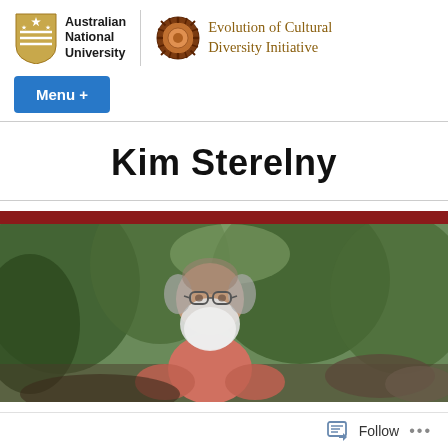Australian National University | Evolution of Cultural Diversity Initiative
Menu +
Kim Sterelny
[Figure (photo): Photograph of Kim Sterelny, an older man with a white beard and glasses wearing a pink shirt, standing outdoors among green trees and rocks.]
Follow ...